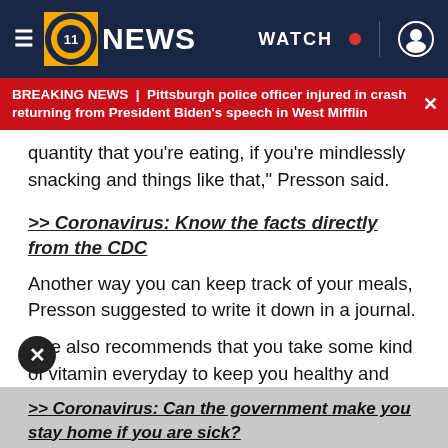NEWS | WATCH
BREAKING NEWS | Pittsburgh police officer injured in crash returning from President Biden's speech in West Mifflin
quantity that you're eating, if you're mindlessly snacking and things like that," Presson said.
>> Coronavirus: Know the facts directly from the CDC
Another way you can keep track of your meals, Presson suggested to write it down in a journal.
She also recommends that you take some kind of vitamin everyday to keep you healthy and give your immune system a boost.
>> Coronavirus: Can the government make you stay home if you are sick?